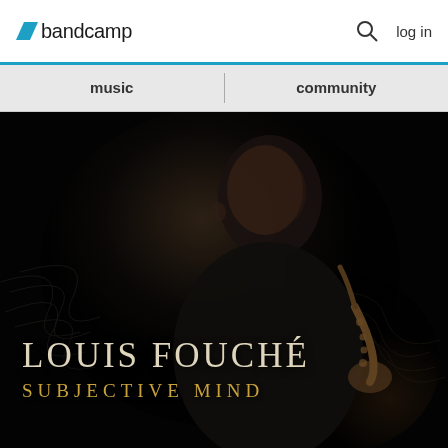bandcamp  log in
music  community
[Figure (photo): Album cover for 'Subjective Mind' by Louis Fouché. A bald Black man in a dark shirt holds a saxophone, photographed against a black background with abstract wave/motion graphics. Text overlaid: 'LOUIS FOUCHÉ' in large serif capitals and 'SUBJECTIVE MIND' in gold serif capitals below.]